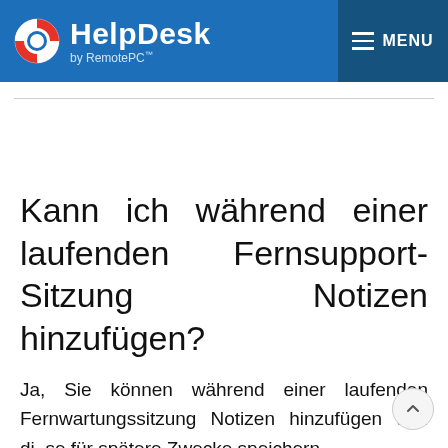HelpDesk by RemotePC™ — MENU
Kann ich während einer laufenden Fernsupport-Sitzung Notizen hinzufügen?
Ja, Sie können während einer laufenden Fernwartungssitzung Notizen hinzufügen und diese für spätere Zwecke speichern.